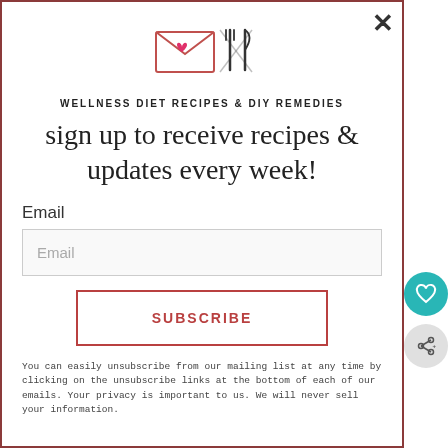[Figure (logo): Email envelope icon with fork and knife crossed, decorative logo for wellness diet recipes and DIY remedies newsletter]
WELLNESS DIET RECIPES & DIY REMEDIES
sign up to receive recipes & updates every week!
Email
Email
SUBSCRIBE
You can easily unsubscribe from our mailing list at any time by clicking on the unsubscribe links at the bottom of each of our emails. Your privacy is important to us. We will never sell your information.